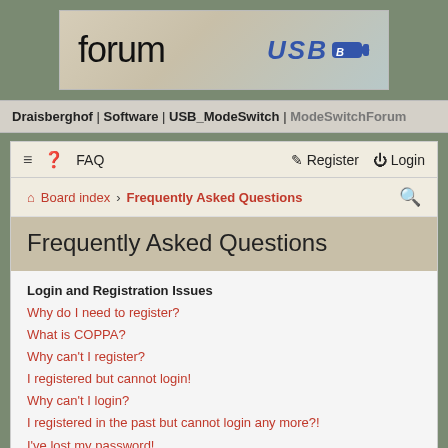[Figure (logo): Forum banner with 'forum' text on left and USB logo on right, sky/clouds background]
Draisberghof | Software | USB_ModeSwitch | ModeSwitchForum
≡  ? FAQ    Register  Login
Board index › Frequently Asked Questions
Frequently Asked Questions
Login and Registration Issues
Why do I need to register?
What is COPPA?
Why can't I register?
I registered but cannot login!
Why can't I login?
I registered in the past but cannot login any more?!
I've lost my password!
Why do I get logged off automatically?
What does the "Delete cookies" do?
User Preferences and settings
How do I change my settings?
How do I prevent my username appearing in the online users listings?